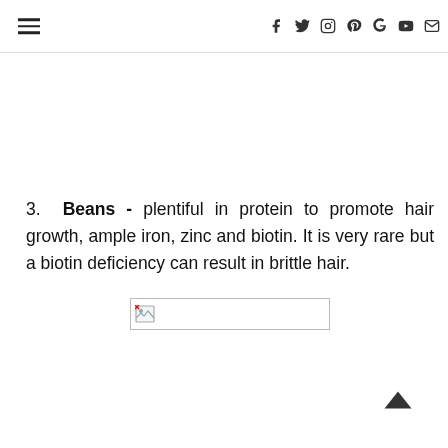Navigation header with hamburger menu and social icons (Facebook, Twitter, Instagram, Pinterest, Google+, YouTube, Email)
3. Beans - plentiful in protein to promote hair growth, ample iron, zinc and biotin. It is very rare but a biotin deficiency can result in brittle hair.
[Figure (photo): Broken image placeholder]
[Figure (other): Back to top arrow chevron icon]